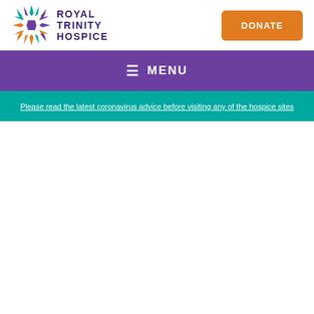[Figure (logo): Royal Trinity Hospice logo — colorful snowflake/star emblem in teal, orange, and purple with text ROYAL TRINITY HOSPICE in dark purple]
DONATE
☰ MENU
Please read the latest coronavirus advice before visiting any of the hospice sites